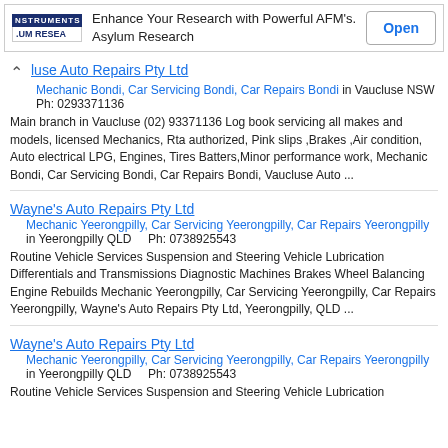[Figure (other): Advertisement banner: Oxford Instruments logo, text 'Enhance Your Research with Powerful AFM's. Asylum Research', and an 'Open' button]
luse Auto Repairs Pty Ltd
Mechanic Bondi, Car Servicing Bondi, Car Repairs Bondi in Vaucluse NSW
Ph: 0293371136
Main branch in Vaucluse (02) 93371136 Log book servicing all makes and models, licensed Mechanics, Rta authorized, Pink slips ,Brakes ,Air condition, Auto electrical LPG, Engines, Tires Batters,Minor performance work, Mechanic Bondi, Car Servicing Bondi, Car Repairs Bondi, Vaucluse Auto ...
Wayne's Auto Repairs Pty Ltd
Mechanic Yeerongpilly, Car Servicing Yeerongpilly, Car Repairs Yeerongpilly in Yeerongpilly QLD    Ph: 0738925543
Routine Vehicle Services Suspension and Steering Vehicle Lubrication Differentials and Transmissions Diagnostic Machines Brakes Wheel Balancing Engine Rebuilds Mechanic Yeerongpilly, Car Servicing Yeerongpilly, Car Repairs Yeerongpilly, Wayne's Auto Repairs Pty Ltd, Yeerongpilly, QLD ...
Wayne's Auto Repairs Pty Ltd
Mechanic Yeerongpilly, Car Servicing Yeerongpilly, Car Repairs Yeerongpilly in Yeerongpilly QLD    Ph: 0738925543
Routine Vehicle Services Suspension and Steering Vehicle Lubrication